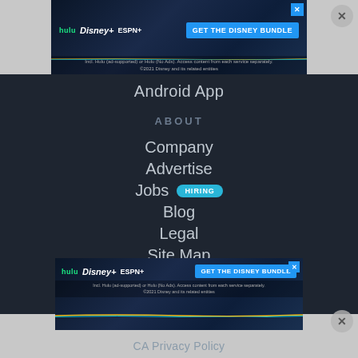[Figure (screenshot): Top Disney Bundle advertisement banner with Hulu, Disney+, ESPN+ logos and 'GET THE DISNEY BUNDLE' button. Disclaimer text: Incl. Hulu (ad-supported) or Hulu (No Ads). Access content from each service separately. ©2021 Disney and its related entities]
Android App
ABOUT
Company
Advertise
Jobs  HIRING
Blog
Legal
Site Map
Student Brands
Accessibility
[Figure (screenshot): Bottom Disney Bundle advertisement banner with Hulu, Disney+, ESPN+ logos and 'GET THE DISNEY BUNDLE' button. Disclaimer text: Incl. Hulu (ad-supported) or Hulu (No Ads). Access content from each service separately. ©2021 Disney and its related entities]
CA Privacy Policy